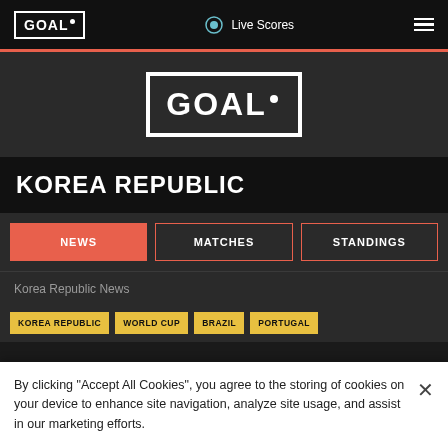GOAL - Live Scores
[Figure (logo): GOAL logo large centered on dark background]
KOREA REPUBLIC
NEWS (active tab)
MATCHES
STANDINGS
Korea Republic News
KOREA REPUBLIC | WORLD CUP | BRAZIL | PORTUGAL
By clicking "Accept All Cookies", you agree to the storing of cookies on your device to enhance site navigation, analyze site usage, and assist in our marketing efforts.